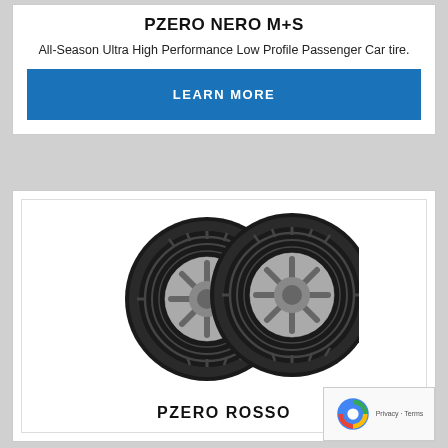PZERO NERO M+S
All-Season Ultra High Performance Low Profile Passenger Car tire.
LEARN MORE
[Figure (photo): Two Pirelli PZero Rosso tires shown side by side at an angle, displaying tread pattern and alloy wheel rims]
PZERO ROSSO